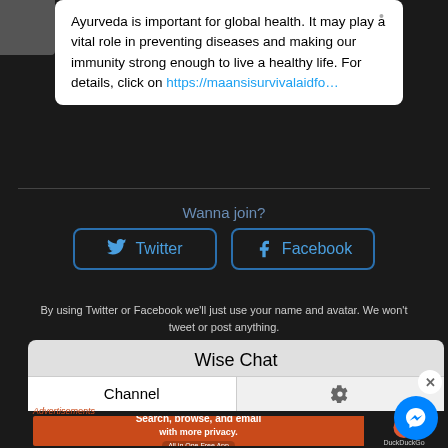Ayurveda is important for global health. It may play a vital role in preventing diseases and making our immunity strong enough to live a healthy life. For details, click on https://maansisurvivalaidfo…
Wanna join?
[Figure (screenshot): Twitter and Facebook social login buttons with rounded rectangle borders in blue]
By using Twitter or Facebook we'll just use your name and avatar. We won't tweet or post anything.
Wise Chat
Channel
Advertisements
[Figure (screenshot): DuckDuckGo advertisement banner: Search, browse, and email with more privacy. All in One Free App]